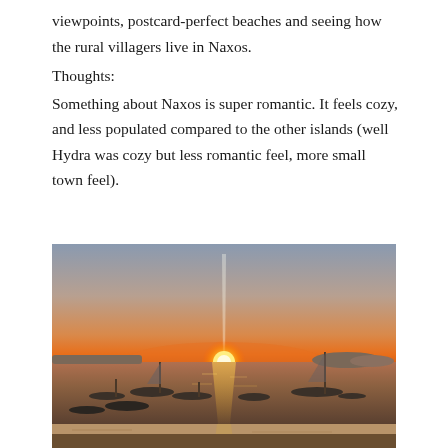viewpoints, postcard-perfect beaches and seeing how the rural villagers live in Naxos.
Thoughts:
Something about Naxos is super romantic. It feels cozy, and less populated compared to the other islands (well Hydra was cozy but less romantic feel, more small town feel).
[Figure (photo): Sunset over the sea at Naxos. Several small boats and sailboats are anchored in calm water. The sun is low on the horizon, glowing orange-gold, casting a bright reflection on the water. The sky transitions from orange near the horizon to soft grey-blue above. A sandy beach is visible in the foreground.]